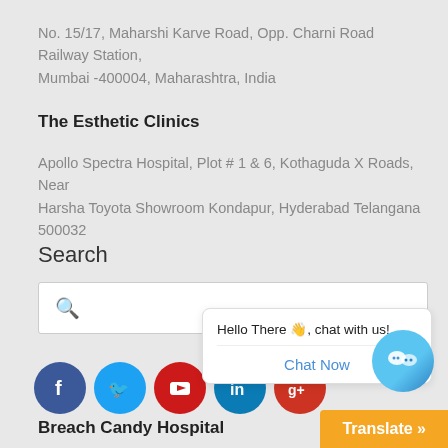No. 15/17, Maharshi Karve Road, Opp. Charni Road Railway Station, Mumbai -400004, Maharashtra, India
The Esthetic Clinics
Apollo Spectra Hospital, Plot # 1 & 6, Kothaguda X Roads, Near Harsha Toyota Showroom Kondapur, Hyderabad Telangana 500032
Search
[Figure (screenshot): Search input box with magnifying glass icon]
[Figure (infographic): Social media icons: Facebook, Twitter, YouTube, LinkedIn, Google+]
[Figure (infographic): Chat bubble popup: 'Hello There 👋, chat with us!' with Chat Now button, and WeChat icon button]
Breach Candy Hospital